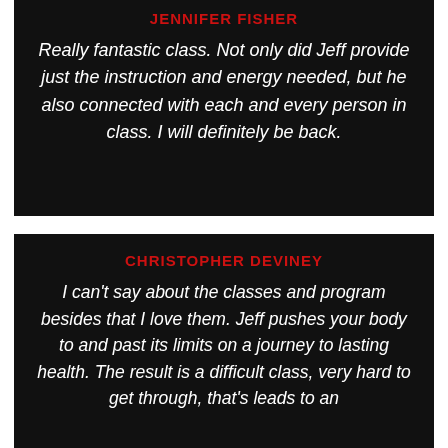JENNIFER FISHER
Really fantastic class. Not only did Jeff provide just the instruction and energy needed, but he also connected with each and every person in class. I will definitely be back.
CHRISTOPHER DEVINEY
I can't say about the classes and program besides that I love them. Jeff pushes your body to and past its limits on a journey to lasting health. The result is a difficult class, very hard to get through, that's leads to an